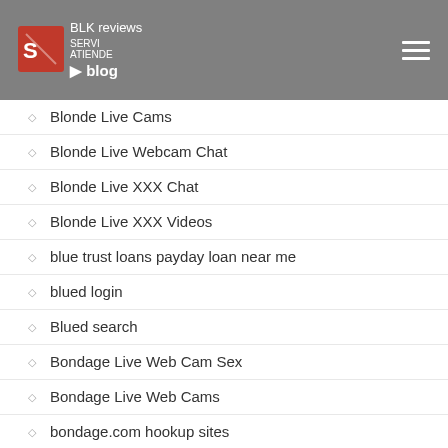BLK reviews blog
Blonde Live Cams
Blonde Live Webcam Chat
Blonde Live XXX Chat
Blonde Live XXX Videos
blue trust loans payday loan near me
blued login
Blued search
Bondage Live Web Cam Sex
Bondage Live Web Cams
bondage.com hookup sites
Bondage.com support
Bondage.com username
Bongacams dating site
BongaCams Live
BongaCams Online Sex
BongaCams XXX Cam Chat R…